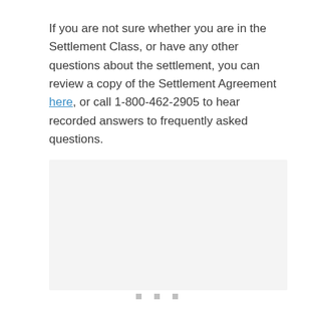If you are not sure whether you are in the Settlement Class, or have any other questions about the settlement, you can review a copy of the Settlement Agreement here, or call 1-800-462-2905 to hear recorded answers to frequently asked questions.
[Figure (other): Light gray rectangular box, likely a content placeholder or footer area]